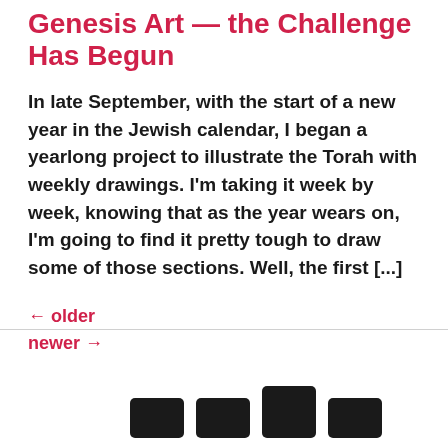Genesis Art — the Challenge Has Begun
In late September, with the start of a new year in the Jewish calendar, I began a yearlong project to illustrate the Torah with weekly drawings. I'm taking it week by week, knowing that as the year wears on, I'm going to find it pretty tough to draw some of those sections. Well, the first [...]
← older
newer →